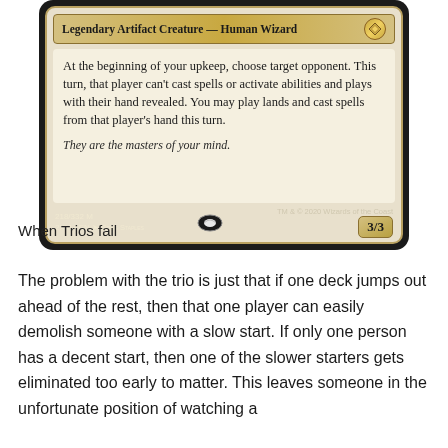[Figure (illustration): Magic: The Gathering card bottom portion showing type bar 'Legendary Artifact Creature — Human Wizard', rules text box, flavor text, power/toughness 3/3, collector number 218/332 M, set 2XM EN, artist Greg Staples, copyright TM & © 2020 Wizards of the Coast]
When Trios fail
The problem with the trio is just that if one deck jumps out ahead of the rest, then that one player can easily demolish someone with a slow start. If only one person has a decent start, then one of the slower starters gets eliminated too early to matter. This leaves someone in the unfortunate position of watching a